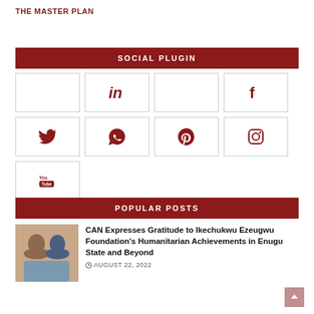THE MASTER PLAN
SOCIAL PLUGIN
[Figure (infographic): Social media icon buttons: LinkedIn, Facebook, Twitter, WhatsApp, Pinterest, Instagram, YouTube, arranged in a 4-column grid with bordered boxes.]
POPULAR POSTS
[Figure (photo): Photo of two men shaking hands outdoors]
CAN Expresses Gratitude to Ikechukwu Ezeugwu Foundation's Humanitarian Achievements in Enugu State and Beyond
AUGUST 22, 2022